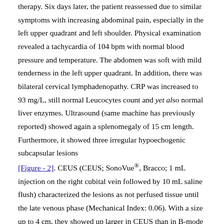therapy. Six days later, the patient reassessed due to similar symptoms with increasing abdominal pain, especially in the left upper quadrant and left shoulder. Physical examination revealed a tachycardia of 104 bpm with normal blood pressure and temperature. The abdomen was soft with mild tenderness in the left upper quadrant. In addition, there was bilateral cervical lymphadenopathy. CRP was increased to 93 mg/L, still normal Leucocytes count and yet also normal liver enzymes. Ultrasound (same machine has previously reported) showed again a splenomegaly of 15 cm length. Furthermore, it showed three irregular hypoechogenic subcapsular lesions [Figure - 2]. CEUS (CEUS; SonoVue®, Bracco; 1 mL injection on the right cubital vein followed by 10 mL saline flush) characterized the lesions as not perfused tissue until the late venous phase (Mechanical Index: 0.06). With a size up to 4 cm, they showed up larger in CEUS than in B-mode US [Figure - 3]. Serologic studies for EBV presented a positive result for acute primary infection (positive viral capsid antigen [VCA] immunoglobulin M, negative VCA immunoglobulin G [IgG], and NA-1-IgG). We diagnosed IM with resulting splenic infarction. The juvenile was admitted for supportive treatment and observation, including pain management. The hospitalist team obtained a CT scan with angiography 2 days after admission, which confirmed the